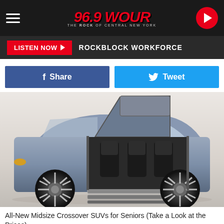[Figure (logo): 96.9 WOUR radio station header with hamburger menu, red italic logo text, and play button]
LISTEN NOW ▶  ROCKBLOCK WORKFORCE
[Figure (screenshot): Social sharing buttons: Facebook Share and Twitter Tweet]
[Figure (photo): Lincoln Navigator concept SUV with gull-wing doors open showing interior seating, side profile view]
All-New Midsize Crossover SUVs for Seniors (Take a Look at the Prices)
Senior Cars | Search Ads
Search Now